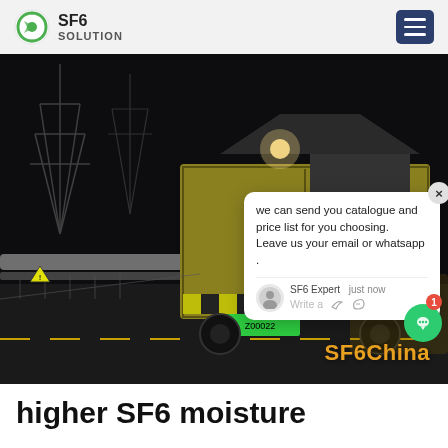SF6 SOLUTION
[Figure (photo): Night-time photo of a yellow cargo truck at an industrial substation with electrical pylons visible in the background. A chat popup overlay is visible in the upper right of the image. The watermark 'SF6China' appears at the bottom right.]
higher SF6 moisture